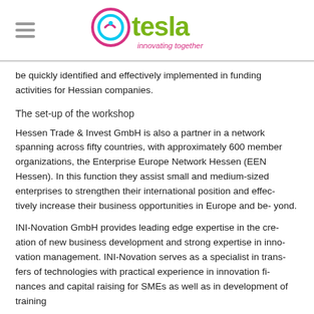Otesla - innovating together
be quickly identified and effectively implemented in funding activities for Hessian companies.
The set-up of the workshop
Hessen Trade & Invest GmbH is also a partner in a network spanning across fifty countries, with approximately 600 member organizations, the Enterprise Europe Network Hessen (EEN Hessen). In this function they assist small and medium-sized enterprises to strengthen their international position and effec- tively increase their business opportunities in Europe and be- yond.
INI-Novation GmbH provides leading edge expertise in the cre- ation of new business development and strong expertise in inno- vation management. INI-Novation serves as a specialist in trans- fers of technologies with practical experience in innovation fi- nances and capital raising for SMEs as well as in development of training